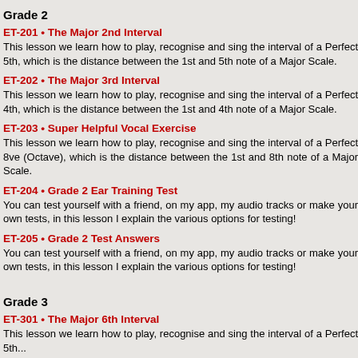Grade 2
ET-201 • The Major 2nd Interval
This lesson we learn how to play, recognise and sing the interval of a Perfect 5th, which is the distance between the 1st and 5th note of a Major Scale.
ET-202 • The Major 3rd Interval
This lesson we learn how to play, recognise and sing the interval of a Perfect 4th, which is the distance between the 1st and 4th note of a Major Scale.
ET-203 • Super Helpful Vocal Exercise
This lesson we learn how to play, recognise and sing the interval of a Perfect 8ve (Octave), which is the distance between the 1st and 8th note of a Major Scale.
ET-204 • Grade 2 Ear Training Test
You can test yourself with a friend, on my app, my audio tracks or make your own tests, in this lesson I explain the various options for testing!
ET-205 • Grade 2 Test Answers
You can test yourself with a friend, on my app, my audio tracks or make your own tests, in this lesson I explain the various options for testing!
Grade 3
ET-301 • The Major 6th Interval
This lesson we learn how to play, recognise and sing the interval of a Perfect 5th...